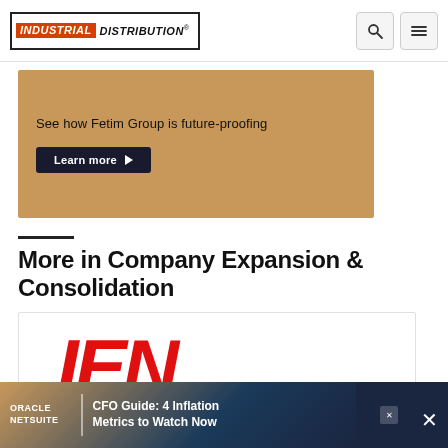INDUSTRIAL DISTRIBUTION
[Figure (illustration): Advertisement banner for Fetim Group with tan/copper background. Text reads: 'See how Fetim Group is future-proofing' with a dark 'Learn more' button with arrow.]
More in Company Expansion & Consolidation
[Figure (logo): IEN logo in large bold red italic letters on white background inside a bordered card.]
[Figure (illustration): Bottom advertisement banner: Oracle NetSuite logo on the left, 'CFO Guide: 4 Inflation Metrics to Watch Now' text on dark blue/teal background. Close button on right.]